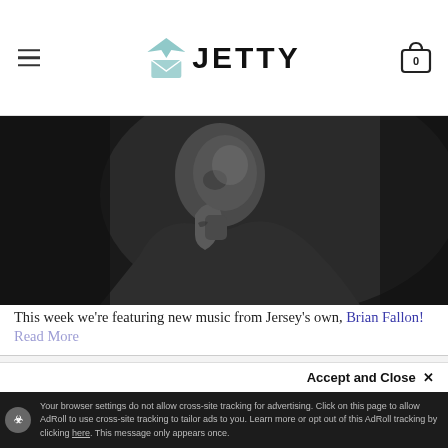Jetty (logo with hamburger menu and cart icon showing 0)
[Figure (photo): Black and white photo of a tattooed man in a jacket, looking down, with his hand near his chin]
This week we're featuring new music from Jersey's own, Brian Fallon! Read More
Notice
Jetty uses cookies and similar technologies to improve the user experience. To learn more about our cookie policy, visit our Privacy Policy. You may opt out of sharing your information by using the link "Do Not Share My Personal Information".
Accept and Close ×
Your browser settings do not allow cross-site tracking for advertising. Click on this page to allow AdRoll to use cross-site tracking to tailor ads to you. Learn more or opt out of this AdRoll tracking by clicking here. This message only appears once.